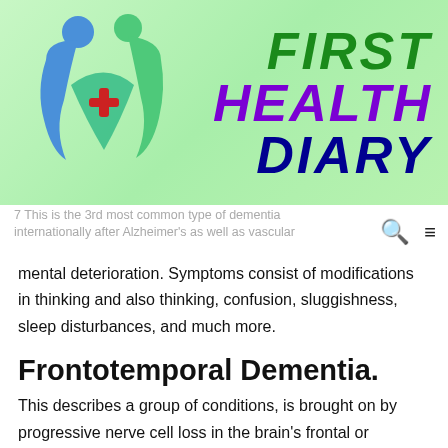[Figure (logo): First Health Diary logo with green background, stylized human figures in blue and green, red medical cross, and text FIRST HEALTH DIARY in dark green, purple, and dark blue italic bold font]
7 This is the 3rd most common type of dementia internationally after Alzheimer's as well as vascular mental deterioration. Symptoms consist of modifications in thinking and also thinking, confusion, sluggishness, sleep disturbances, and much more.
Frontotemporal Dementia.
This describes a group of conditions, is brought on by progressive nerve cell loss in the brain's frontal or